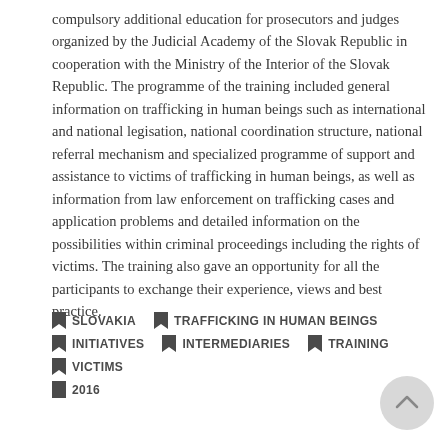compulsory additional education for prosecutors and judges organized by the Judicial Academy of the Slovak Republic in cooperation with the Ministry of the Interior of the Slovak Republic. The programme of the training included general information on trafficking in human beings such as international and national legisation, national coordination structure, national referral mechanism and specialized programme of support and assistance to victims of trafficking in human beings, as well as information from law enforcement on trafficking cases and application problems and detailed information on the possibilities within criminal proceedings including the rights of victims. The training also gave an opportunity for all the participants to exchange their experience, views and best practice.
SLOVAKIA
TRAFFICKING IN HUMAN BEINGS
INITIATIVES
INTERMEDIARIES
TRAINING
VICTIMS
2016